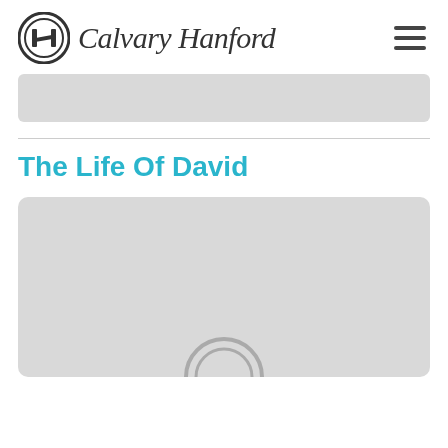[Figure (logo): Calvary Hanford church logo with circular emblem and cursive text]
[Figure (other): Gray banner placeholder rectangle]
The Life Of David
[Figure (other): Gray content card with partially visible circular logo icon at bottom center]